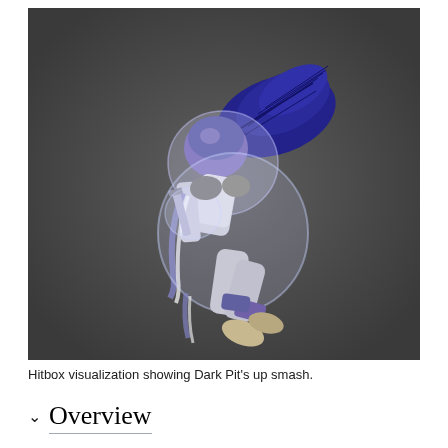[Figure (screenshot): Hitbox visualization screenshot showing Dark Pit performing an up smash attack. The character is shown in a dark grey background with a purple-winged angel character mid-animation, with translucent white hitbox spheres overlaid on the character model.]
Hitbox visualization showing Dark Pit's up smash.
Overview